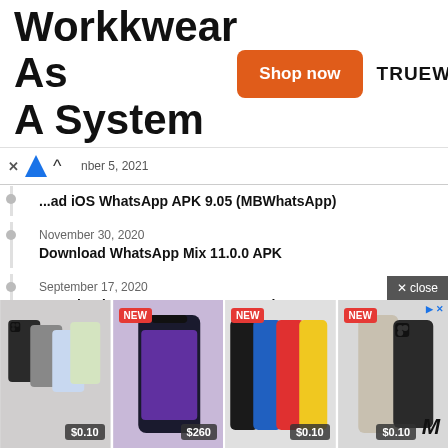[Figure (screenshot): Advertisement banner: 'Workwear As A System' with orange 'Shop now' button and TRUEWERK brand name]
nber 5, 2021
...ad iOS WhatsApp APK 9.05 (MBWhatsApp)
November 30, 2020
Download WhatsApp Mix 11.0.0 APK
September 17, 2020
Download CovStats COVID-19 Tracker App
March 22, 2022
Free Download TMWhatsApp APK 8.11 latest version 2022
March 11, 2021
Download WhatsApp Aero APK latest version [updated]
[Figure (screenshot): Bottom advertisement showing four smartphone product images with prices: $0.10, $260, $0.10, $0.10 and NEW badges]